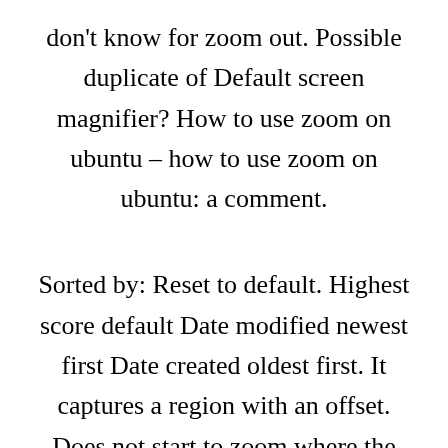don't know for zoom out. Possible duplicate of Default screen magnifier? How to use zoom on ubuntu – how to use zoom on ubuntu: a comment.
Sorted by: Reset to default. Highest score default Date modified newest first Date created oldest first. It captures a region with an offset. Does not start to zoom where the pointer is located, and in general you might find it very buggy. See also Magnify a screen area Orca : Orca is a free, open source,